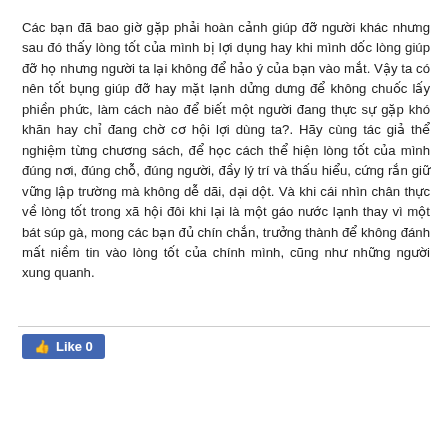Các bạn đã bao giờ gặp phải hoàn cảnh giúp đỡ người khác nhưng sau đó thấy lòng tốt của mình bị lợi dụng hay khi mình dốc lòng giúp đỡ họ nhưng người ta lại không để hảo ý của bạn vào mắt. Vậy ta có nên tốt bụng giúp đỡ hay mặt lạnh dửng dưng để không chuốc lấy phiền phức, làm cách nào để biết một người đang thực sự gặp khó khăn hay chỉ đang chờ cơ hội lợi dùng ta?. Hãy cùng tác giả thể nghiệm từng chương sách, để học cách thể hiện lòng tốt của mình đúng nơi, đúng chỗ, đúng người, đầy lý trí và thấu hiểu, cứng rắn giữ vững lập trường mà không dễ dãi, dại dột. Và khi cái nhìn chân thực về lòng tốt trong xã hội đôi khi lại là một gáo nước lạnh thay vì một bát súp gà, mong các bạn đủ chín chắn, trưởng thành để không đánh mất niềm tin vào lòng tốt của chính mình, cũng như những người xung quanh.
[Figure (other): Facebook Like button showing 'Like 0' with thumbs up icon on blue background]